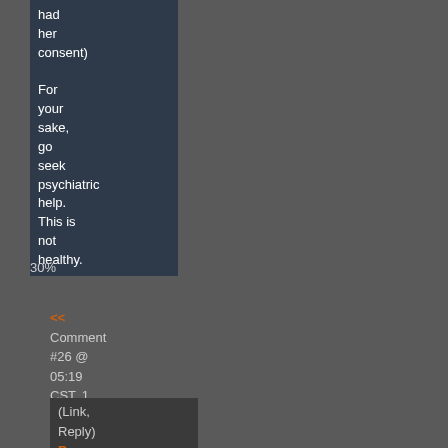had her consent) For your sake, go seek psychiatric help. This is not healthy.
30%
<< Comment #26 @ 05:19 CST, 1 March 2016 >>
(Link, Reply) By earth - Reply to